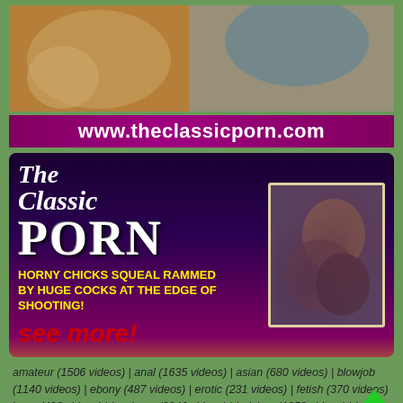[Figure (photo): Top banner photo showing persons in warm tones]
www.theclassicporn.com
[Figure (advertisement): Ad banner for The Classic Porn website with tagline and thumbnail photo]
amateur (1506 videos) | anal (1635 videos) | asian (680 videos) | blowjob (1140 videos) | ebony (487 videos) | erotic (231 videos) | fetish (370 videos) | gay (493 videos) | hardcore (2846 videos) | ladyboy (1258 videos) | latina (363 videos) | lesbian (453 videos) | mature (437 videos) | strip (269 videos) | teen (1995 videos) |